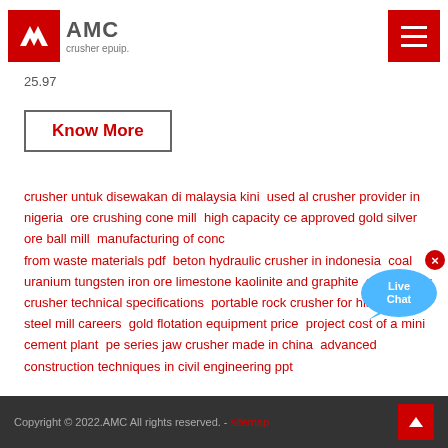[Figure (logo): AMC crusher epuip. logo with red square containing white chevron icon and gray AMC text]
25.97
Know More
crusher untuk disewakan di malaysia kini  used al crusher provider in nigeria  ore crushing cone mill  high capacity ce approved gold silver ore ball mill  manufacturing of concrete from waste materials pdf  beton hydraulic crusher in indonesia  coal uranium tungsten iron ore limestone kaolinite and graphite  gold pe jaw crusher technical specifications  portable rock crusher for hire  people steel mill careers  gold flotation equipment price  project cost of a mini cement plant  pe series jaw crusher made in china  advanced construction techniques in civil engineering ppt
Copyright © 2022.AMC All rights reserved. - sitemap